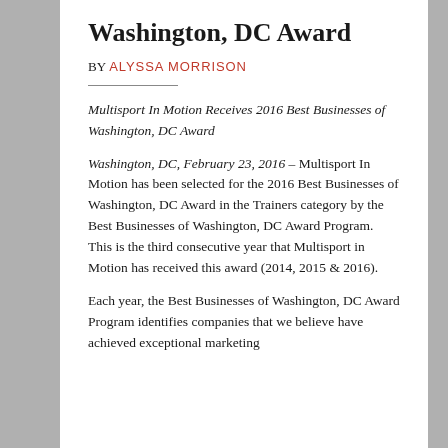Washington, DC Award
BY ALYSSA MORRISON
Multisport In Motion Receives 2016 Best Businesses of Washington, DC Award
Washington, DC, February 23, 2016 – Multisport In Motion has been selected for the 2016 Best Businesses of Washington, DC Award in the Trainers category by the Best Businesses of Washington, DC Award Program. This is the third consecutive year that Multisport in Motion has received this award (2014, 2015 & 2016).
Each year, the Best Businesses of Washington, DC Award Program identifies companies that we believe have achieved exceptional marketing